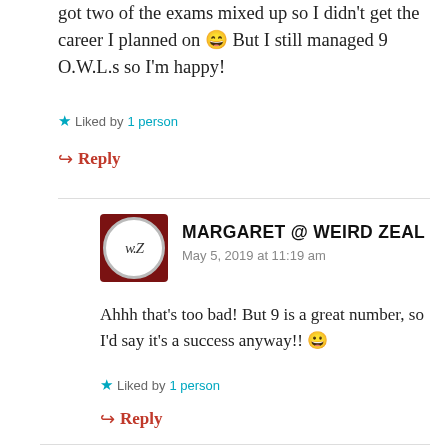got two of the exams mixed up so I didn't get the career I planned on 😄 But I still managed 9 O.W.L.s so I'm happy!
★ Liked by 1 person
↪ Reply
[Figure (illustration): Avatar icon for Margaret @ Weird Zeal: circular logo with 'w.Z' on dark red square background]
MARGARET @ WEIRD ZEAL
May 5, 2019 at 11:19 am
Ahhh that's too bad! But 9 is a great number, so I'd say it's a success anyway!! 😀
★ Liked by 1 person
↪ Reply
[Figure (photo): Small avatar photo for Winged Cynic commenter]
WINGED CYNIC